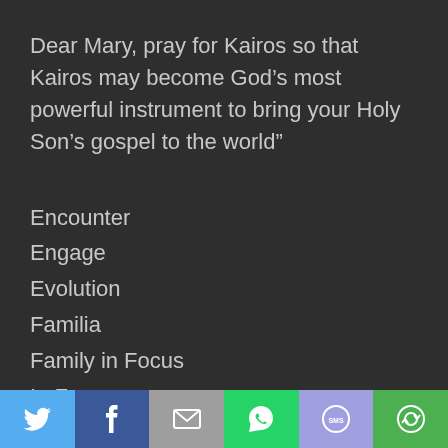Dear Mary, pray for Kairos so that Kairos may become God’s most powerful instrument to bring your Holy Son’s gospel to the world”
Encounter
Engage
Evolution
Familia
Family in Focus
In Focus
[Figure (infographic): Social share bar with six buttons: Twitter (blue bird icon), Facebook (dark blue f icon), Email (grey envelope icon), WhatsApp (green phone icon), SMS (light blue SMS bubble icon), Share (green circular arrows icon)]